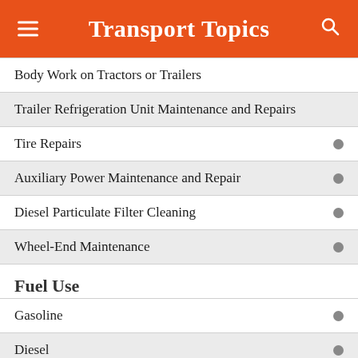Transport Topics
Body Work on Tractors or Trailers
Trailer Refrigeration Unit Maintenance and Repairs
Tire Repairs
Auxiliary Power Maintenance and Repair
Diesel Particulate Filter Cleaning
Wheel-End Maintenance
Fuel Use
Gasoline
Diesel
Biodiesel
CNG/ LNG
Propane